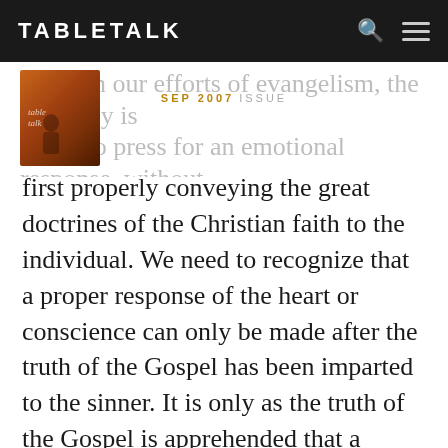TABLETALK
[Figure (illustration): Tabletalk magazine cover thumbnail for September 2007 issue, with dark orange/brown tones]
SEP 2007 ISSUE
Often in our efforts of evangelism, the tendency is for us to press for an emotional response, without first properly conveying the great doctrines of the Christian faith to the individual. We need to recognize that a proper response of the heart or conscience can only be made after the truth of the Gospel has been imparted to the sinner. It is only as the truth of the Gospel is apprehended that a genuine biblical response can take place. We see thus the need for doctrinal integrity on the part of all Christians, who are to be witnesses of the Gospel to the world around us.